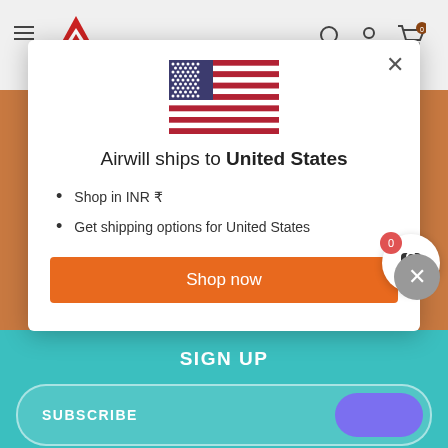[Figure (screenshot): Website header background with hamburger menu, logo, search, account, and cart icons on a light gray background.]
[Figure (infographic): Modal popup dialog with US flag, title 'Airwill ships to United States', bullet points, and orange Shop now button.]
Airwill ships to United States
Shop in INR ₹
Get shipping options for United States
Shop now
SIGN UP
SUBSCRIBE